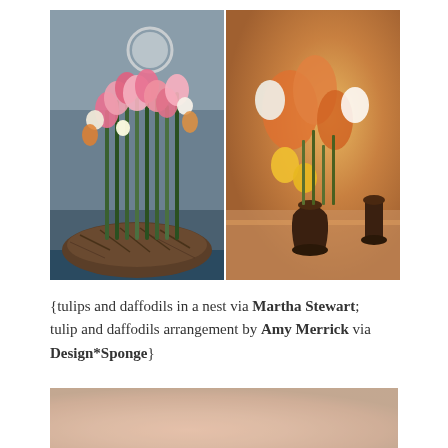[Figure (photo): Two side-by-side flower arrangement photos. Left: pink and white tulips with daffodils arranged in a bird's nest on a blue table. Right: orange tulips and yellow daffodils in dark bronze vases on a patterned table.]
{tulips and daffodils in a nest via Martha Stewart; tulip and daffodils arrangement by Amy Merrick via Design*Sponge}
[Figure (photo): Partial bottom photo showing what appears to be flowers or fruit in warm orange/peach tones, partially cropped.]